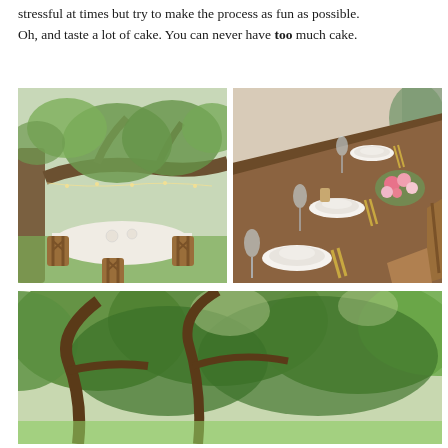stressful at times but try to make the process as fun as possible. Oh, and taste a lot of cake. You can never have too much cake.
[Figure (photo): Outdoor wedding reception under large oak trees with string lights, round table with white tablecloth and wooden cross-back chairs on grass]
[Figure (photo): Close-up of long wooden farm table set for wedding reception with white plates, gold cutlery, floral centerpieces with pink and white flowers, and wooden cross-back chairs]
[Figure (photo): Aerial or wide view of large oak trees with dense green foliage, outdoor setting]